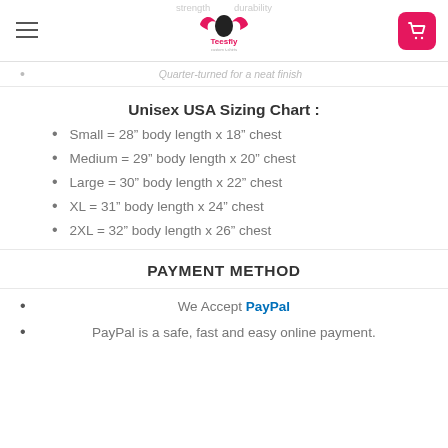Teesfly header with hamburger menu and cart button
strength and durability
Quarter-turned for a neat finish
Unisex USA Sizing Chart :
Small = 28″ body length x 18″ chest
Medium = 29″ body length x 20″ chest
Large = 30″ body length x 22″ chest
XL = 31″ body length x 24″ chest
2XL = 32″ body length x 26″ chest
PAYMENT METHOD
We Accept PayPal
PayPal is a safe, fast and easy online payment.